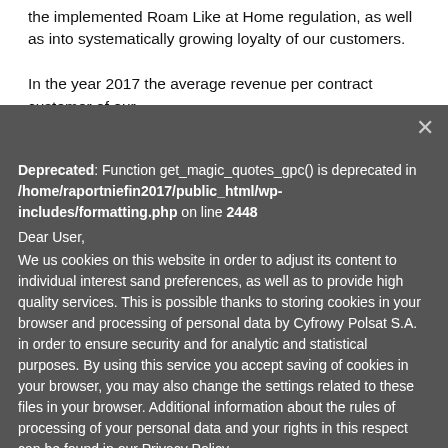the implemented Roam Like at Home regulation, as well as into systematically growing loyalty of our customers.

In the year 2017 the average revenue per contract customer of our
Deprecated: Function get_magic_quotes_gpc() is deprecated in /home/raportniefin2017/public_html/wp-includes/formatting.php on line 2448
Dear User,
We us cookies on this website in order to adjust its content to individual interest sand preferences, as well as to provide high quality services. This is possible thanks to storing cookies in your browser and processing of personal data by Cyfrowy Polsat S.A. in order to ensure security and for analytic and statistical purposes. By using this service you accept saving of cookies in your browser, you may also change the settings related to these files in your browser. Additional information about the rules of processing of your personal data and your rights in this respect can be found in our Privacy Policy.